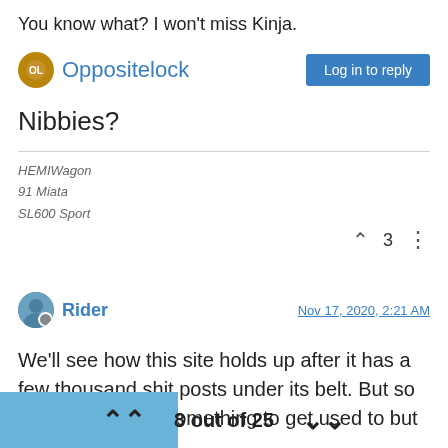You know what? I won't miss Kinja.
Oppositelock   Log in to reply
Nibbies?
HEMIWagon
91 Miata
SL600 Sport
^ 3 ⋮
Rider   Nov 17, 2020, 2:21 AM
We'll see how this site holds up after it has a few thousand shit posts under its belt. But so far, it's definitely something to get used to but
8 out of 25